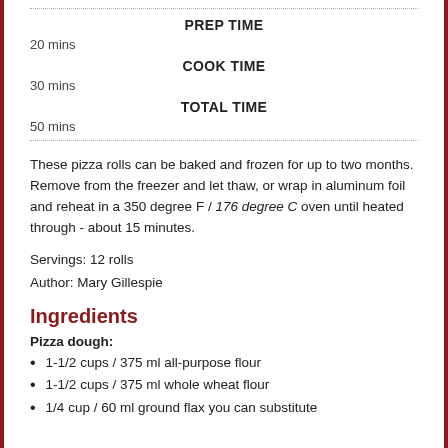PREP TIME
20 mins
COOK TIME
30 mins
TOTAL TIME
50 mins
These pizza rolls can be baked and frozen for up to two months. Remove from the freezer and let thaw, or wrap in aluminum foil and reheat in a 350 degree F / 176 degree C oven until heated through - about 15 minutes.
Servings: 12 rolls
Author: Mary Gillespie
Ingredients
Pizza dough:
1-1/2 cups / 375 ml all-purpose flour
1-1/2 cups / 375 ml whole wheat flour
1/4 cup / 60 ml ground flax you can substitute